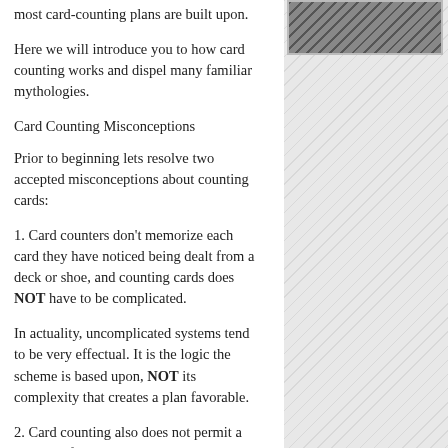most card-counting plans are built upon.
Here we will introduce you to how card counting works and dispel many familiar mythologies.
Card Counting Misconceptions
Prior to beginning lets resolve two accepted misconceptions about counting cards:
1. Card counters don't memorize each card they have noticed being dealt from a deck or shoe, and counting cards does NOT have to be complicated.
In actuality, uncomplicated systems tend to be very effectual. It is the logic the scheme is based upon, NOT its complexity that creates a plan favorable.
2. Card counting also does not permit a player to foresee with accuracy what card will be dealt out the deck next.
[Figure (photo): Dark image panel with hatched/diagonal pattern background in the right column]